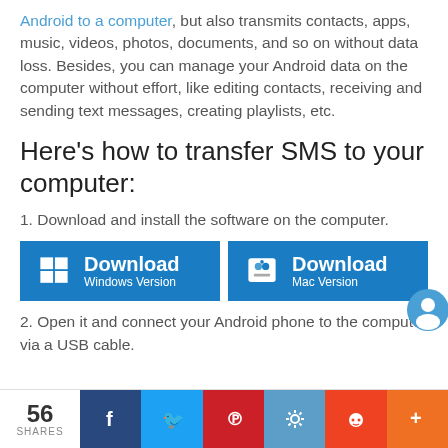Android to a computer, but also transmits contacts, apps, music, videos, photos, documents, and so on without data loss. Besides, you can manage your Android data on the computer without effort, like editing contacts, receiving and sending text messages, creating playlists, etc.
Here's how to transfer SMS to your computer:
1. Download and install the software on the computer.
[Figure (screenshot): Two download buttons side by side: Download Windows Version (blue, Windows logo) and Download Mac Version (blue, Finder logo)]
2. Open it and connect your Android phone to the computer via a USB cable.
56 SHARES | Facebook | Twitter | Pinterest | Misc | Reddit | Plus